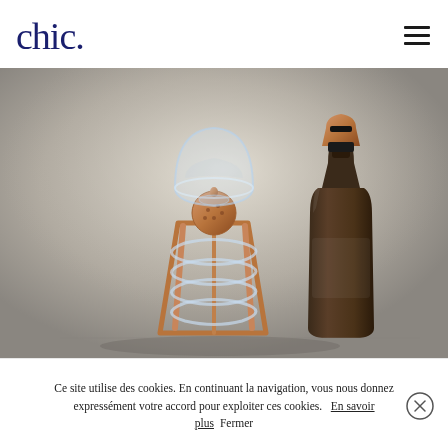[Figure (logo): chic. logo in dark navy blue serif font]
[Figure (photo): Product photo showing a glass and copper whisky decanter/still apparatus with spiral glass tubing and copper fittings, alongside a dark amber whisky bottle with copper and black top, on a neutral grey-brown background]
Ce site utilise des cookies. En continuant la navigation, vous nous donnez expressément votre accord pour exploiter ces cookies.
En savoir plus
Fermer